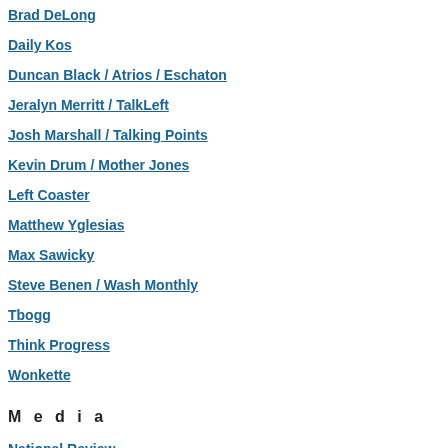Brad DeLong
Daily Kos
Duncan Black / Atrios / Eschaton
Jeralyn Merritt / TalkLeft
Josh Marshall / Talking Points
Kevin Drum / Mother Jones
Left Coaster
Matthew Yglesias
Max Sawicky
Steve Benen / Wash Monthly
Tbogg
Think Progress
Wonkette
M e d i a
National Review
Liberal Death Star
Washington Post
[Figure (photo): Flag with red X on white/blue background]
lol, NK!
Posted
[Figure (photo): Abstract red and white pattern]
"The worst part is that just as their governments or the soci rejected by U.S. laws, which
Here are some other countries Honduras/Guatamala/ElSalva unmentioned:
* Mexico
* Belize
* Nicaragua
* Costa Rica
* Panama
* Columbia
* Venezuela
* Ecuador
The question reporters on US they leaving home?" but "wha are not) that draws them here